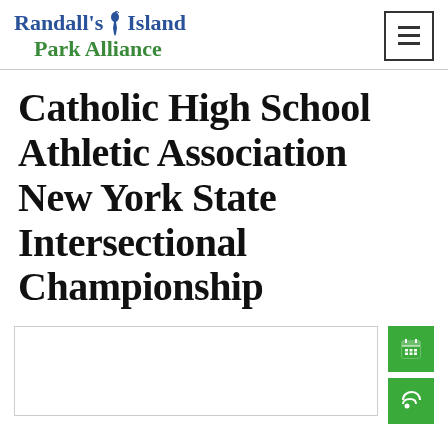Randall's Island Park Alliance
Catholic High School Athletic Association New York State Intersectional Championship
[Figure (other): Empty event/calendar box placeholder with green calendar icon button and green RSS feed icon button on the right side]